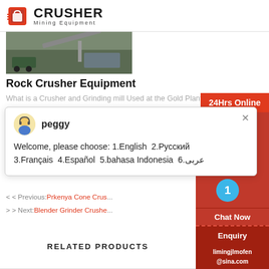CRUSHER Mining Equipment
[Figure (photo): Rock crusher equipment machinery photo]
Rock Crusher Equipment
What is a Crusher and Grinding mill Used at the Gold Plant Gold can occur as a pure mineral or be combined
[Figure (screenshot): Live chat popup with agent peggy. Message: Welcome, please choose: 1.English  2.Русский  3.Français  4.Español  5.bahasa Indonesia  6.عربى]
< < Previous:Prkenya Cone Crus...
> > Next:Blender Grinder Crushe...
RELATED PRODUCTS